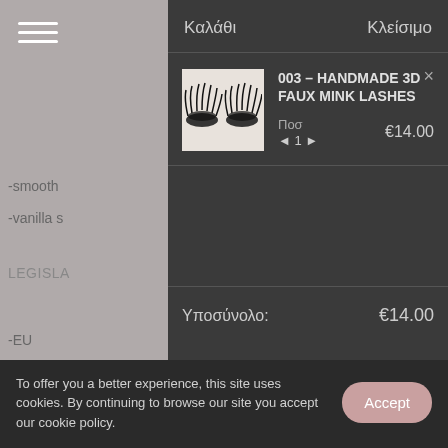[Figure (screenshot): Website sidebar with menu icon and partially visible navigation text items: -smooth, -vanilla s, LEGISLA, -EU, -FDA (Fo, TEXTUR, Our Glo]
Καλάθι   Κλείσιμο
[Figure (photo): Product thumbnail showing a pair of faux mink eyelashes on a light background]
003 – HANDMADE 3D FAUX MINK LASHES
Ποσ ◄ 1 ► €14.00
Υποσύνολο: €14.00
To offer you a better experience, this site uses cookies. By continuing to browse our site you accept our cookie policy.